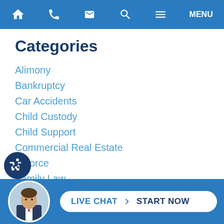Navigation bar with home, phone, email, search, menu icons
Categories
Alimony
Bankruptcy
Car Accidents
Child Custody
Child Support
Commercial Real Estate
Divorce
Family Law
Foreclosure
General
Guardianship Law
Law Firm News
Personal Injury
Real Estate Facts
[Figure (photo): Attorney headshot in circular avatar in bottom bar. Live Chat Start Now button.]